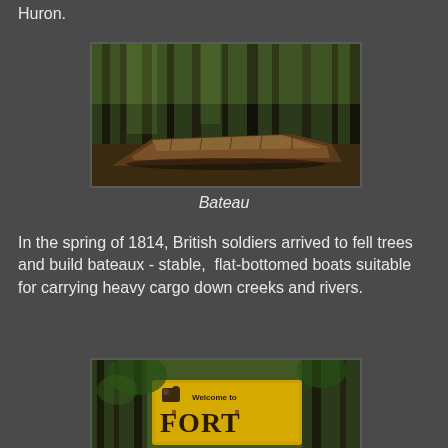Huron.
[Figure (photo): A bateau (flat-bottomed wooden boat) resting among tall trees in a forest setting]
Bateau
In the spring of 1814, British soldiers arrived to fell trees and build bateaux - stable, flat-bottomed boats suitable for carrying heavy cargo down creeks and rivers.
[Figure (photo): A yellow sign in a forest reading 'Welcome to Fort']